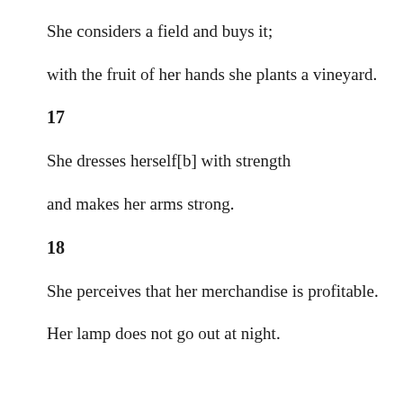She considers a field and buys it;
with the fruit of her hands she plants a vineyard.
17
She dresses herself[b] with strength
and makes her arms strong.
18
She perceives that her merchandise is profitable.
Her lamp does not go out at night.